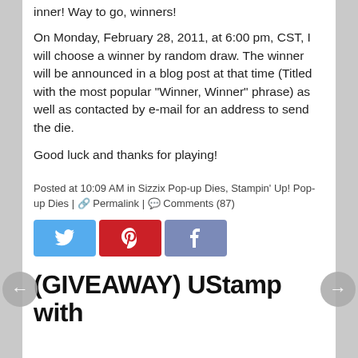inner! Way to go, winners!
On Monday, February 28, 2011, at 6:00 pm, CST, I will choose a winner by random draw. The winner will be announced in a blog post at that time (Titled with the most popular "Winner, Winner" phrase) as well as contacted by e-mail for an address to send the die.
Good luck and thanks for playing!
Posted at 10:09 AM in Sizzix Pop-up Dies, Stampin' Up! Pop-up Dies | 🔗 Permalink | 💬 Comments (87)
[Figure (infographic): Social sharing buttons: Twitter (blue), Pinterest (red), Facebook (slate blue)]
(GIVEAWAY) UStamp with